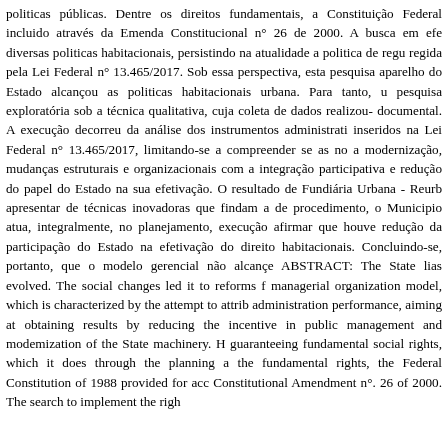politicas públicas. Dentre os direitos fundamentais, a Constituição Federal incluido através da Emenda Constitucional n° 26 de 2000. A busca em efe diversas politicas habitacionais, persistindo na atualidade a politica de regu regida pela Lei Federal n° 13.465/2017. Sob essa perspectiva, esta pesquisa aparelho do Estado alcançou as politicas habitacionais urbana. Para tanto, u pesquisa exploratória sob a técnica qualitativa, cuja coleta de dados realizou- documental. A execução decorreu da análise dos instrumentos administrati inseridos na Lei Federal n° 13.465/2017, limitando-se a compreender se as no a modernização, mudanças estruturais e organizacionais com a integraçã participativa e redução do papel do Estado na sua efetivação. O resultado de Fundiária Urbana - Reurb apresentar de técnicas inovadoras que findam a de procedimento, o Municipio atua, integralmente, no planejamento, execuça afirmar que houve redução da participação do Estado na efetivação do direito habitacionais. Concluindo-se, portanto, que o modelo gerencial não alcançe ABSTRACT: The State lias evolved. The social changes led it to reforms f managerial organization model, which is characterized by the attempt to attrib administration performance, aiming at obtaining results by reducing the incentive in public management and modemization of the State machinery. H guaranteeing fundamental social rights, which it does through the planning a the fundamental rights, the Federal Constitution of 1988 provided for acc Constitutional Amendment n°. 26 of 2000. The search to implement the righ